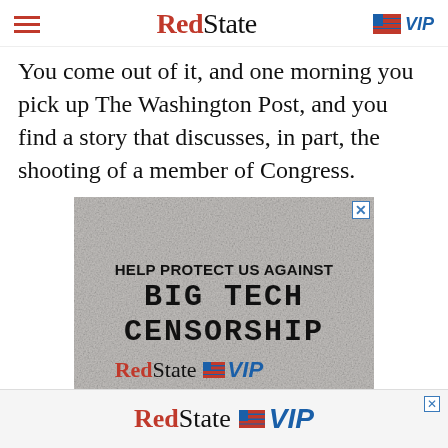RedState VIP
You come out of it, and one morning you pick up The Washington Post, and you find a story that discusses, in part, the shooting of a member of Congress.
[Figure (advertisement): RedState VIP advertisement with text: HELP PROTECT US AGAINST BIG TECH CENSORSHIP, with RedState VIP logo on textured gray background]
[Figure (advertisement): RedState VIP bottom banner advertisement]